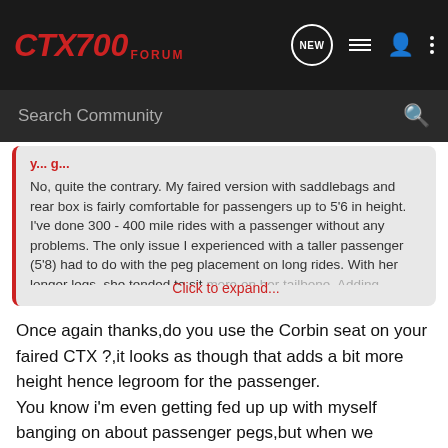CTX700 FORUM
Search Community
No, quite the contrary. My faired version with saddlebags and rear box is fairly comfortable for passengers up to 5'6 in height. I've done 300 - 400 mile rides with a passenger without any problems. The only issue I experienced with a taller passenger (5'8) had to do with the peg placement on long rides. With her longer legs, she tended to sit more on her tailbone. Adding additional, firmer padding helped and a custom dual seat would have cured the problem all together.
Click to expand...
Once again thanks,do you use the Corbin seat on your faired CTX ?,it looks as though that adds a bit more height hence legroom for the passenger.
You know i'm even getting fed up up with myself banging on about passenger pegs,but when we change our present bike it will be our last & will have to see out our biking days(which i hope are many),so i really need to be sure the bike fits us.